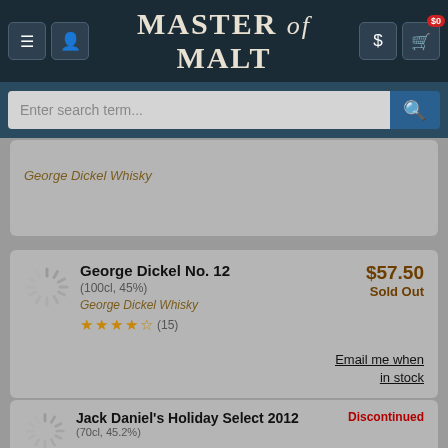Master of Malt
Enter search term...
George Dickel Whisky
George Dickel No. 12 (100cl, 45%) — George Dickel Whisky — $57.50 — Sold Out — (15 reviews) — Email me when in stock
Jack Daniel's Holiday Select 2012 (70cl, 45.2%) — Discontinued